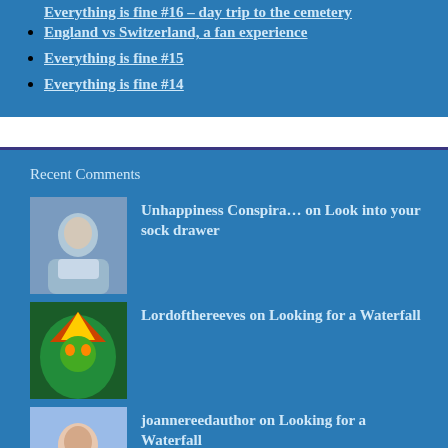Everything is fine #16 – day trip to the cemetery
England vs Switzerland, a fan experience
Everything is fine #15
Everything is fine #14
Recent Comments
Unhappiness Conspira… on Look into your sock drawer
Lordofthereeves on Looking for a Waterfall
joannereedauthor on Looking for a Waterfall